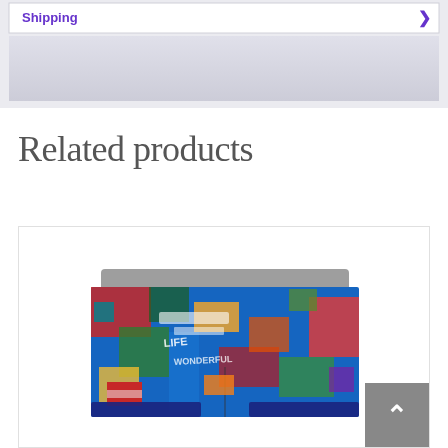[Figure (screenshot): Tab bar UI element showing 'Shipping' text in purple with a right arrow, on a light grey background panel]
Related products
[Figure (photo): Colorful patterned boxer shorts/underwear with graffiti-style print featuring American flags and various bright colors, displayed on white background inside a product card]